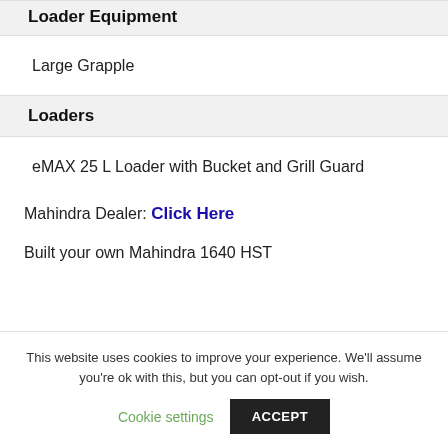Loader Equipment
Large Grapple
Loaders
eMAX 25 L Loader with Bucket and Grill Guard
Mahindra Dealer: Click Here
Built your own Mahindra 1640 HST
This website uses cookies to improve your experience. We'll assume you're ok with this, but you can opt-out if you wish. Cookie settings ACCEPT